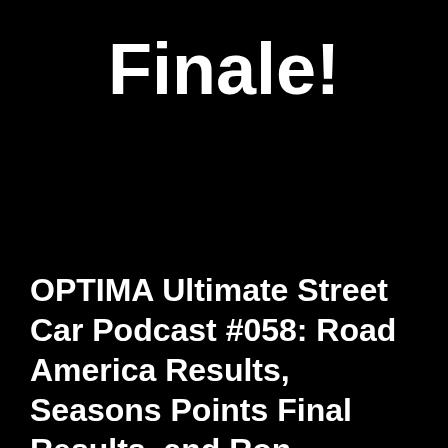Finale!
OPTIMA Ultimate Street Car Podcast #058: Road America Results, Seasons Points Final Results, and Ron Suttons Racing Catalog Finale!